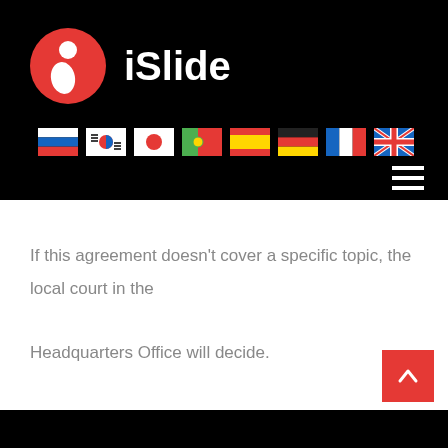[Figure (logo): iSlide logo: red circle with white person icon, followed by bold white text 'iSlide']
[Figure (infographic): Row of 8 country flags: Russia, South Korea, Japan, Portugal, Spain, Germany, France, United Kingdom]
If this agreement doesn't cover a specific topic, the local court in the Headquarters Office will decide.